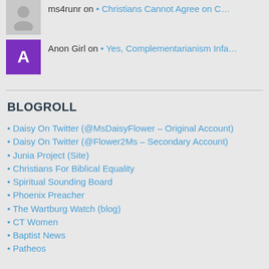ms4runr on • Christians Cannot Agree on C…
Anon Girl on • Yes, Complementarianism Infa…
BLOGROLL
• Daisy On Twitter (@MsDaisyFlower – Original Account)
• Daisy On Twitter (@Flower2Ms – Secondary Account)
• Junia Project (Site)
• Christians For Biblical Equality
• Spiritual Sounding Board
• Phoenix Preacher
• The Wartburg Watch (blog)
• CT Women
• Baptist News
• Patheos